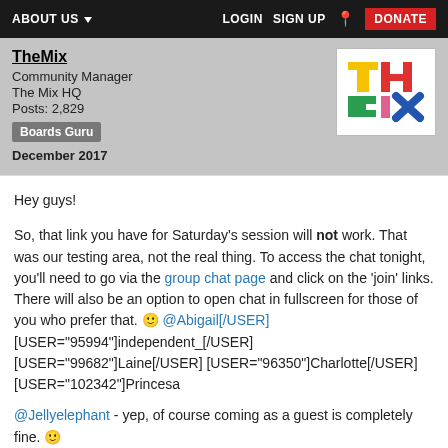ABOUT US  LOGIN  SIGN UP  DONATE
TheMix
Community Manager
The Mix HQ
Posts: 2,829
Boards Guru
December 2017
Hey guys!

So, that link you have for Saturday's session will not work. That was our testing area, not the real thing. To access the chat tonight, you'll need to go via the group chat page and click on the 'join' links. There will also be an option to open chat in fullscreen for those of you who prefer that. 🙂 @Abigail[/USER] [USER="95994"]independent_[/USER] [USER="99682"]Laine[/USER] [USER="96350"]Charlotte[/USER] [USER="102342"]Princesa

@Jellyelephant - yep, of course coming as a guest is completely fine. 🙂